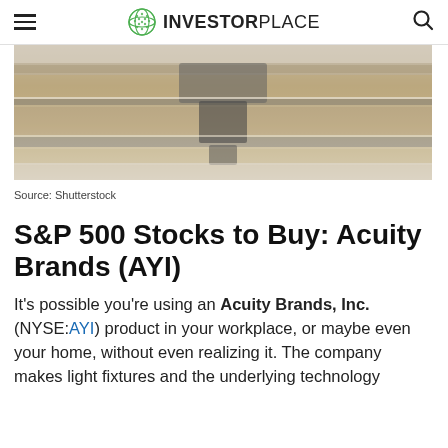INVESTORPLACE
[Figure (photo): Close-up blurred photo of what appears to be metal tracks or lighting fixtures, showing reflective metallic surfaces against a light background.]
Source: Shutterstock
S&P 500 Stocks to Buy: Acuity Brands (AYI)
It’s possible you’re using an Acuity Brands, Inc. (NYSE:AYI) product in your workplace, or maybe even your home, without even realizing it. The company makes light fixtures and the underlying technology